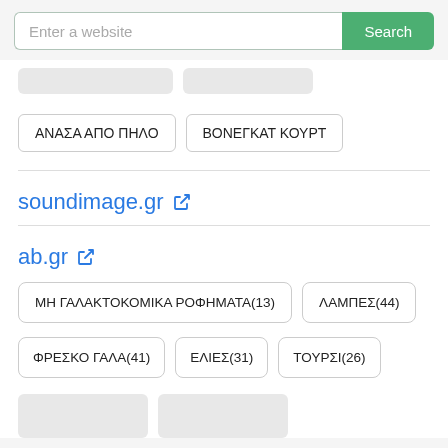Enter a website
Search
ΑΝΑΣΑ ΑΠΟ ΠΗΛΟ
ΒΟΝΕΓΚΑΤ ΚΟΥΡΤ
soundimage.gr
ab.gr
ΜΗ ΓΑΛΑΚΤΟΚΟΜΙΚΑ ΡΟΦΗΜΑΤΑ(13)
ΛΑΜΠΕΣ(44)
ΦΡΕΣΚΟ ΓΑΛΑ(41)
ΕΛΙΕΣ(31)
ΤΟΥΡΣΙ(26)